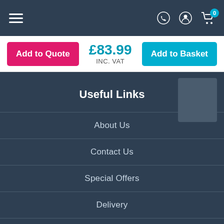Navigation bar with hamburger menu, phone icon, user icon, and cart icon with badge 0
Add to Quote | £83.99 INC. VAT | Add to Basket
Useful Links
About Us
Contact Us
Special Offers
Delivery
Warranty
Secure Shopping